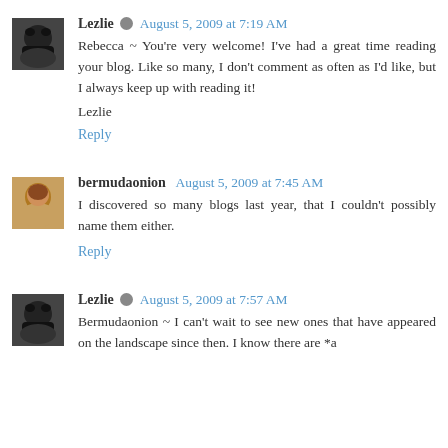Lezlie [edit icon] August 5, 2009 at 7:19 AM
Rebecca ~ You're very welcome! I've had a great time reading your blog. Like so many, I don't comment as often as I'd like, but I always keep up with reading it!

Lezlie

Reply
bermudaonion August 5, 2009 at 7:45 AM
I discovered so many blogs last year, that I couldn't possibly name them either.

Reply
Lezlie [edit icon] August 5, 2009 at 7:57 AM
Bermudaonion ~ I can't wait to see new ones that have appeared on the landscape since then. I know there are *a